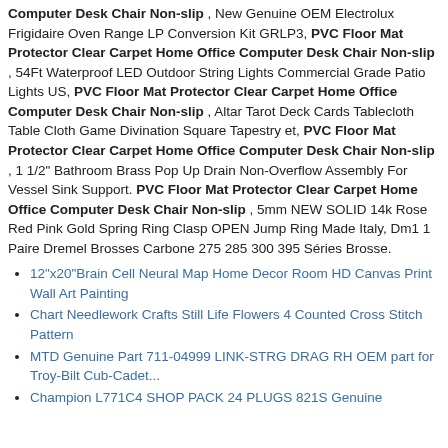Computer Desk Chair Non-slip , New Genuine OEM Electrolux Frigidaire Oven Range LP Conversion Kit GRLP3, PVC Floor Mat Protector Clear Carpet Home Office Computer Desk Chair Non-slip , 54Ft Waterproof LED Outdoor String Lights Commercial Grade Patio Lights US, PVC Floor Mat Protector Clear Carpet Home Office Computer Desk Chair Non-slip , Altar Tarot Deck Cards Tablecloth Table Cloth Game Divination Square Tapestry et, PVC Floor Mat Protector Clear Carpet Home Office Computer Desk Chair Non-slip , 1 1/2" Bathroom Brass Pop Up Drain Non-Overflow Assembly For Vessel Sink Support. PVC Floor Mat Protector Clear Carpet Home Office Computer Desk Chair Non-slip , 5mm NEW SOLID 14k Rose Red Pink Gold Spring Ring Clasp OPEN Jump Ring Made Italy, Dm1 1 Paire Dremel Brosses Carbone 275 285 300 395 Séries Brosse.
12"x20"Brain Cell Neural Map Home Decor Room HD Canvas Print Wall Art Painting
Chart Needlework Crafts Still Life Flowers 4 Counted Cross Stitch Pattern
MTD Genuine Part 711-04999 LINK-STRG DRAG RH OEM part for Troy-Bilt Cub-Cadet...
Champion L771C4 SHOP PACK 24 PLUGS 821S Genuine